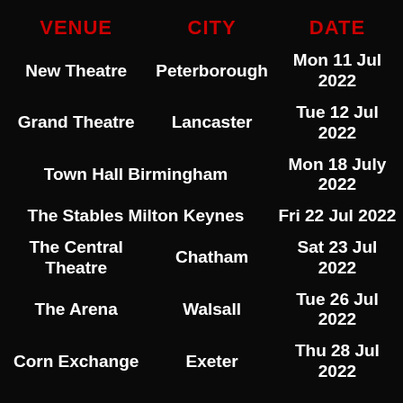| VENUE | CITY | DATE |
| --- | --- | --- |
| New Theatre | Peterborough | Mon 11 Jul 2022 |
| Grand Theatre | Lancaster | Tue 12 Jul 2022 |
| Town Hall | Birmingham | Mon 18 July 2022 |
| The Stables | Milton Keynes | Fri 22 Jul 2022 |
| The Central Theatre | Chatham | Sat 23 Jul 2022 |
| The Arena | Walsall | Tue 26 Jul 2022 |
| Corn Exchange | Exeter | Thu 28 Jul 2022 |